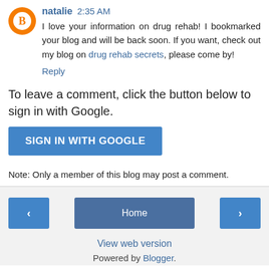natalie 2:35 AM
I love your information on drug rehab! I bookmarked your blog and will be back soon. If you want, check out my blog on drug rehab secrets, please come by!
Reply
To leave a comment, click the button below to sign in with Google.
SIGN IN WITH GOOGLE
Note: Only a member of this blog may post a comment.
‹  Home  ›
View web version
Powered by Blogger.